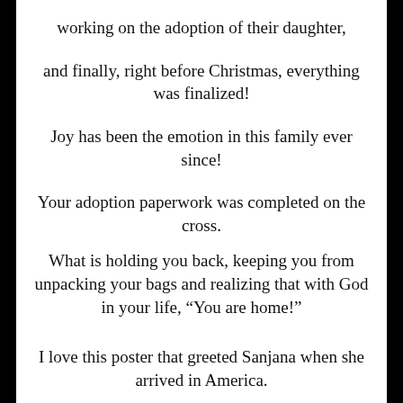working on the adoption of their daughter,
and finally, right before Christmas, everything was finalized!
Joy has been the emotion in this family ever since!
Your adoption paperwork was completed on the cross.
What is holding you back, keeping you from unpacking your bags and realizing that with God in your life, “You are home!”
I love this poster that greeted Sanjana when she arrived in America.